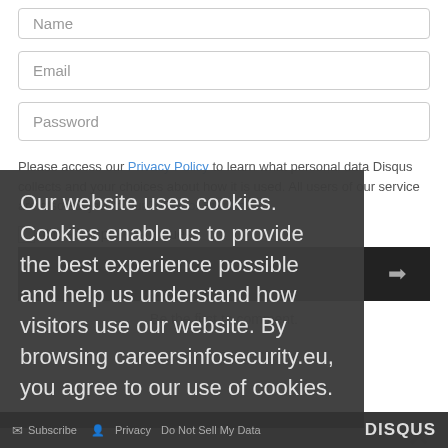Name
Email
Password
Please access our Privacy Policy to learn what personal data Disqus collects and your choices about how it is used. All users of our service are also subject to our Terms of Service.
I'd rather post as a guest
Our website uses cookies. Cookies enable us to provide the best experience possible and help us understand how visitors use our website. By browsing careersinfosecurity.eu, you agree to our use of cookies.
Be the first to comment.
Subscribe   Privacy   Do Not Sell My Data   DISQUS